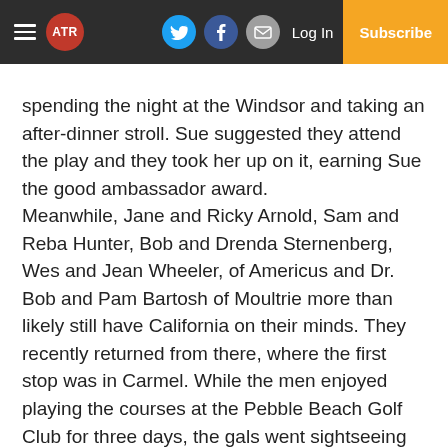ATR | Log In | Subscribe
spending the night at the Windsor and taking an after-dinner stroll. Sue suggested they attend the play and they took her up on it, earning Sue the good ambassador award.
Meanwhile, Jane and Ricky Arnold, Sam and Reba Hunter, Bob and Drenda Sternenberg, Wes and Jean Wheeler, of Americus and Dr. Bob and Pam Bartosh of Moultrie more than likely still have California on their minds. They recently returned from there, where the first stop was in Carmel. While the men enjoyed playing the courses at the Pebble Beach Golf Club for three days, the gals went sightseeing and